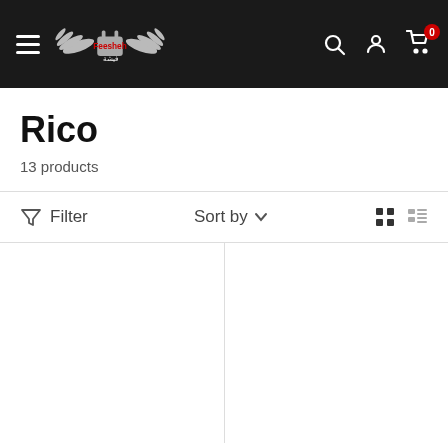Feesheh — navigation header with hamburger menu, logo, search, account, and cart (0 items)
Rico
13 products
Filter   Sort by
[Figure (screenshot): Two blank white product grid cells separated by a vertical divider line, representing product listing placeholders]